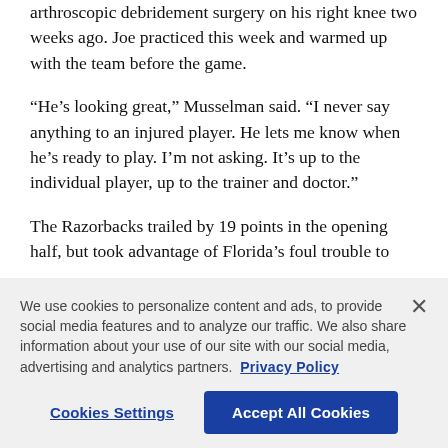arthroscopic debridement surgery on his right knee two weeks ago. Joe practiced this week and warmed up with the team before the game.
“He’s looking great,” Musselman said. “I never say anything to an injured player. He lets me know when he’s ready to play. I’m not asking. It’s up to the individual player, up to the trainer and doctor.”
The Razorbacks trailed by 19 points in the opening half, but took advantage of Florida’s foul trouble to
We use cookies to personalize content and ads, to provide social media features and to analyze our traffic. We also share information about your use of our site with our social media, advertising and analytics partners. Privacy Policy